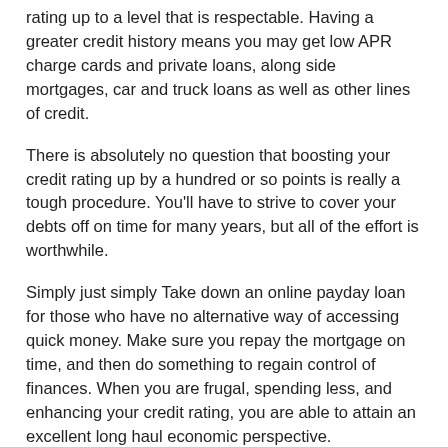rating up to a level that is respectable. Having a greater credit history means you may get low APR charge cards and private loans, along side mortgages, car and truck loans as well as other lines of credit.
There is absolutely no question that boosting your credit rating up by a hundred or so points is really a tough procedure. You'll have to strive to cover your debts off on time for many years, but all of the effort is worthwhile.
Simply just simply Take down an online payday loan for those who have no alternative way of accessing quick money. Make sure you repay the mortgage on time, and then do something to regain control of finances. When you are frugal, spending less, and enhancing your credit rating, you are able to attain an excellent long haul economic perspective.
Tale by Denise Larson